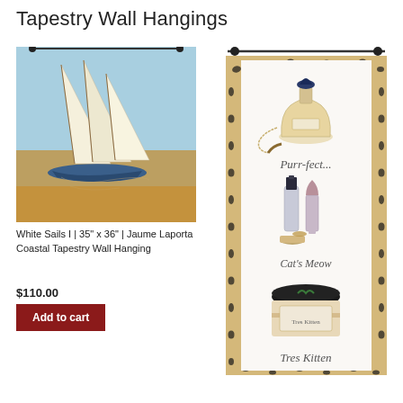Tapestry Wall Hangings
[Figure (illustration): White Sails I tapestry wall hanging showing sailboats with white sails on calm water with reflections, coastal painting style]
White Sails I | 35" x 36" | Jaume Laporta Coastal Tapestry Wall Hanging
$110.00
Add to cart
[Figure (illustration): Tres Kitten tapestry wall hanging with leopard print border, featuring perfume bottle, nail polish, lipstick, cosmetics box, with text Purr-fect, Cat's Meow, Tres Kitten]